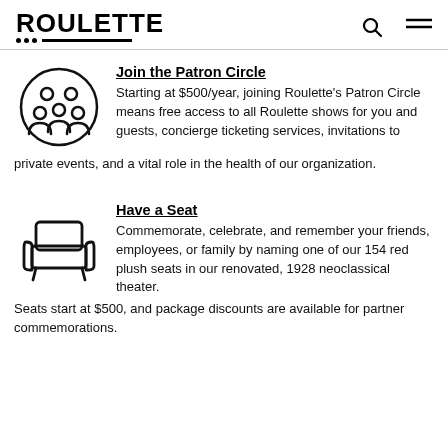ROULETTE
Join the Patron Circle
Starting at $500/year, joining Roulette's Patron Circle means free access to all Roulette shows for you and guests, concierge ticketing services, invitations to private events, and a vital role in the health of our organization.
Have a Seat
Commemorate, celebrate, and remember your friends, employees, or family by naming one of our 154 red plush seats in our renovated, 1928 neoclassical theater. Seats start at $500, and package discounts are available for partner commemorations.